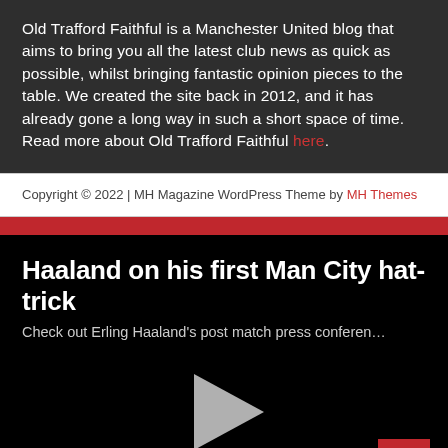Old Trafford Faithful is a Manchester United blog that aims to bring you all the latest club news as quick as possible, whilst bringing fantastic opinion pieces to the table. We created the site back in 2012, and it has already gone a long way in such a short space of time. Read more about Old Trafford Faithful here.
Copyright © 2022 | MH Magazine WordPress Theme by MH Themes
Haaland on his first Man City hat-trick
Check out Erling Haaland's post match press conferen…
[Figure (other): Video player with play button on black background and scroll-to-top button in bottom right corner]